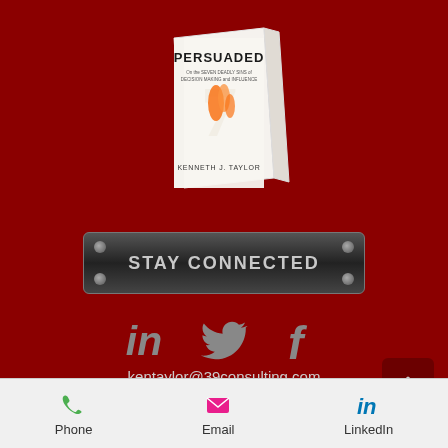[Figure (illustration): Book cover of 'PERSUADED' by Kenneth J. Taylor showing a number 7 with flames, displayed at an angle on a dark red background]
[Figure (infographic): Dark metallic plate button with 4 screws reading 'STAY CONNECTED']
[Figure (infographic): Three social media icons: LinkedIn (in), Twitter bird, Facebook (f) in grey on dark red background]
kentaylor@39consulting.com
770.605.0114
Atlanta, GA
[Figure (infographic): Mobile app footer bar with Phone (green phone icon), Email (pink envelope icon), LinkedIn (blue in icon)]